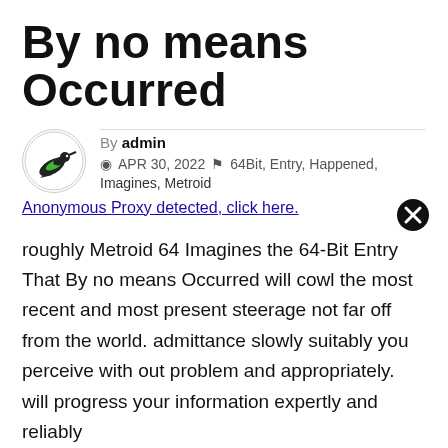By no means Occurred
By admin  APR 30, 2022  64Bit, Entry, Happened, Imagines, Metroid
Anonymous Proxy detected, click here.
roughly Metroid 64 Imagines the 64-Bit Entry That By no means Occurred will cowl the most recent and most present steerage not far off from the world. admittance slowly suitably you perceive with out problem and appropriately. will progress your information expertly and reliably